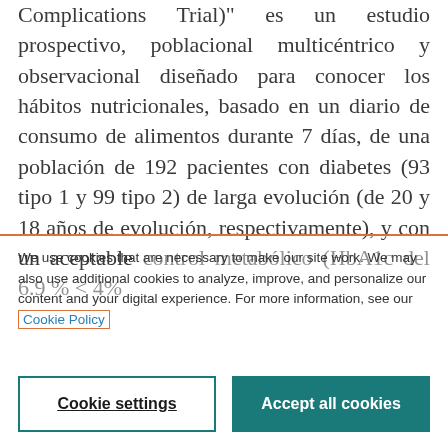Complications Trial” es un estudio prospectivo, poblacional multicéntrico y observacional diseñado para conocer los hábitos nutricionales, basado en un diario de consumo de alimentos durante 7 días, de una población de 192 pacientes con diabetes (93 tipo 1 y 99 tipo 2) de larga evolución (de 20 y 18 años de evolución, respectivamente), y con un aceptable control metabólico (HbA1c del 6.9 % < 4%
We use cookies that are necessary to make our site work. We may also use additional cookies to analyze, improve, and personalize our content and your digital experience. For more information, see our Cookie Policy
Cookie settings
Accept all cookies